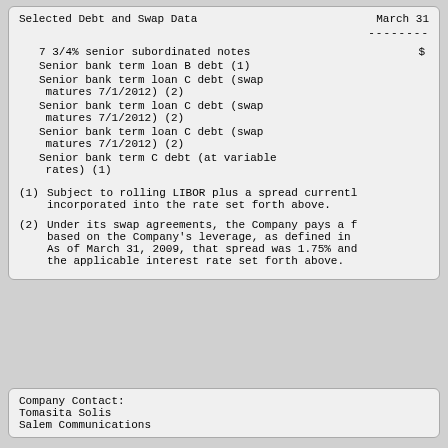| Selected Debt and Swap Data | March 31 |
| --- | --- |
| 7 3/4% senior subordinated notes | $ |
| Senior bank term loan B debt (1) |  |
| Senior bank term loan C debt (swap matures 7/1/2012) (2) |  |
| Senior bank term loan C debt (swap matures 7/1/2012) (2) |  |
| Senior bank term loan C debt (swap matures 7/1/2012) (2) |  |
| Senior bank term C debt (at variable rates) (1) |  |
(1)  Subject to rolling LIBOR plus a spread currently incorporated into the rate set forth above.
(2)  Under its swap agreements, the Company pays a f based on the Company's leverage, as defined in As of March 31, 2009, that spread was 1.75% and the applicable interest rate set forth above.
Company Contact:
Tomasita Solis
Salem Communications